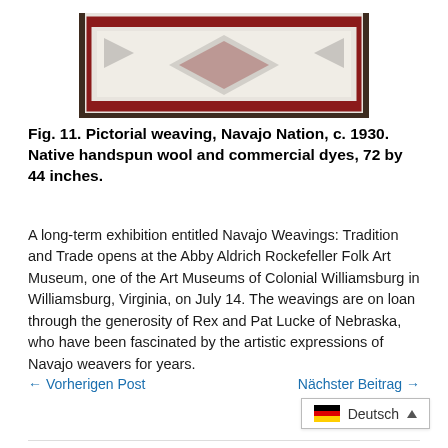[Figure (photo): Partial view of a Navajo pictorial weaving with geometric patterns in red, black, and cream colors]
Fig. 11. Pictorial weaving, Navajo Nation, c. 1930. Native handspun wool and commercial dyes, 72 by 44 inches.
A long-term exhibition entitled Navajo Weavings: Tradition and Trade opens at the Abby Aldrich Rockefeller Folk Art Museum, one of the Art Museums of Colonial Williamsburg in Williamsburg, Virginia, on July 14. The weavings are on loan through the generosity of Rex and Pat Lucke of Nebraska, who have been fascinated by the artistic expressions of Navajo weavers for years.
← Vorherigen Post
Nächster Beitrag →